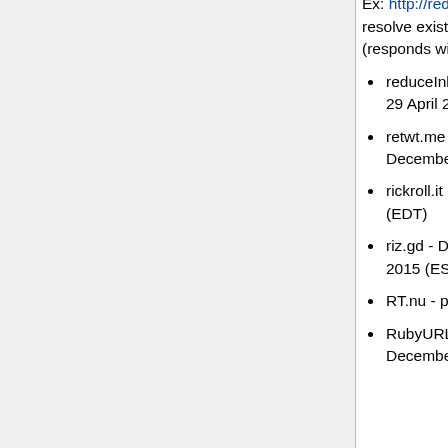Ex: http://redirx.com/?wyok. Website still online but does not resolve existing URLs nor does it allow creating new ones (responds with the message: blame the spammers)
reduceInk.com - redirects to a web directory as of 03:08, 29 April 2016 (EDT)
retwt.me - Server fails to respond as of 16:36, 12 December 2015 (EST)
rickroll.it - page with just ads as of 01:29, 21 June 2016 (EDT)
riz.gd - DNS not responding as of 16:15, 12 December 2015 (EST)
RT.nu - parking page as of 01:11, 3 April 2016 (EDT)
RubyURL.com - DNS not responding as of 02:24, 12 December 2015 (EST) ; Server not responding as of